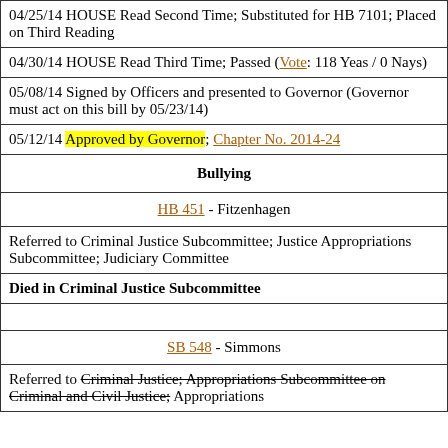04/25/14 HOUSE Read Second Time; Substituted for HB 7101; Placed on Third Reading
04/30/14 HOUSE Read Third Time; Passed (Vote: 118 Yeas / 0 Nays)
05/08/14 Signed by Officers and presented to Governor (Governor must act on this bill by 05/23/14)
05/12/14 Approved by Governor; Chapter No. 2014-24
Bullying
HB 451 - Fitzenhagen
Referred to Criminal Justice Subcommittee; Justice Appropriations Subcommittee; Judiciary Committee
Died in Criminal Justice Subcommittee
SB 548 - Simmons
Referred to Criminal Justice; Appropriations Subcommittee on Criminal and Civil Justice; Appropriations